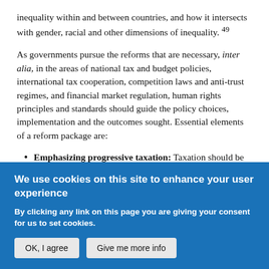inequality within and between countries, and how it intersects with gender, racial and other dimensions of inequality. 49
As governments pursue the reforms that are necessary, inter alia, in the areas of national tax and budget policies, international tax cooperation, competition laws and anti-trust regimes, and financial market regulation, human rights principles and standards should guide the policy choices, implementation and the outcomes sought. Essential elements of a reform package are:
Emphasizing progressive taxation: Taxation should be based on the ability to pay, with rich
We use cookies on this site to enhance your user experience
By clicking any link on this page you are giving your consent for us to set cookies.